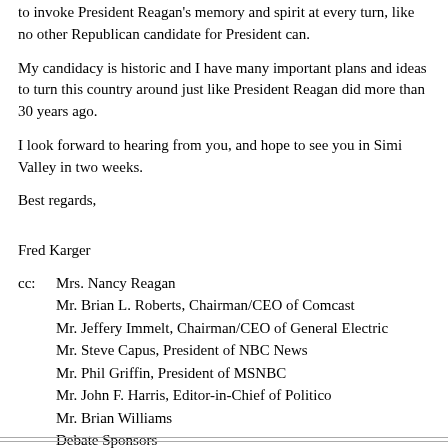to invoke President Reagan's memory and spirit at every turn, like no other Republican candidate for President can.
My candidacy is historic and I have many important plans and ideas to turn this country around just like President Reagan did more than 30 years ago.
I look forward to hearing from you, and hope to see you in Simi Valley in two weeks.
Best regards,
Fred Karger
cc:   Mrs. Nancy Reagan
Mr. Brian L. Roberts, Chairman/CEO of Comcast
Mr. Jeffery Immelt, Chairman/CEO of General Electric
Mr. Steve Capus, President of NBC News
Mr. Phil Griffin, President of MSNBC
Mr. John F. Harris, Editor-in-Chief of Politico
Mr. Brian Williams
Debate Sponsors
Distribution